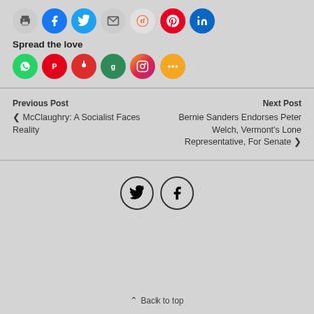[Figure (other): Row of social share buttons: print, Facebook, Twitter, email, Reddit, Pinterest, LinkedIn]
Spread the love
[Figure (other): Row of social share buttons: WhatsApp, Parler, MeWe/Pinterest red, Goodreads, Instagram, More/share]
Previous Post
‹ McClaughry: A Socialist Faces Reality
Next Post
Bernie Sanders Endorses Peter Welch, Vermont's Lone Representative, For Senate ›
[Figure (other): Twitter and Facebook footer icon buttons (circle outline)]
⌃ Back to top